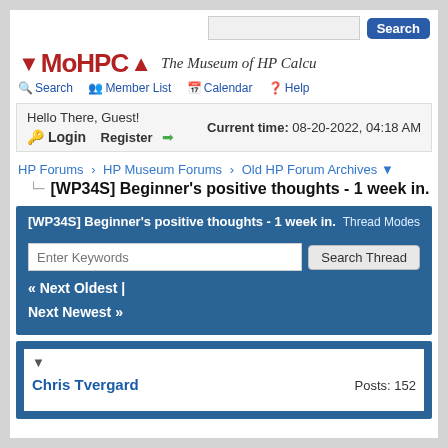Search
[Figure (logo): MoHPCA logo with red arrows and italic text 'The Museum of HP Calcu']
Search | Member List | Calendar | Help
Hello There, Guest! Current time: 08-20-2022, 04:18 AM Login Register
HP Forums › HP Museum Forums › Old HP Forum Archives
[WP34S] Beginner's positive thoughts - 1 week in.
[WP34S] Beginner's positive thoughts - 1 week in. Thread Modes
« Next Oldest | Next Newest »
Enter Keywords  Search Thread
Chris Tvergard  Posts: 152